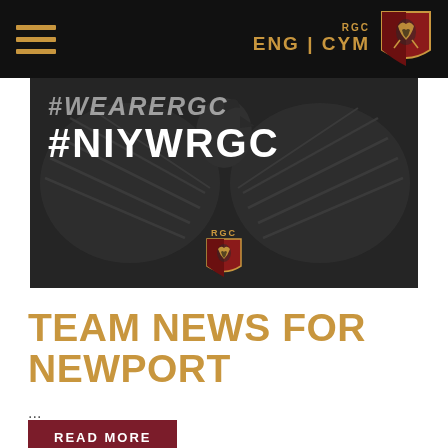ENG | CYM
[Figure (photo): Dark promotional image with RGC eagle silhouette background, text '#WEARERGC' and '#NIYWRGC' in large white bold letters, with small RGC shield logo centered below.]
TEAM NEWS FOR NEWPORT
...
READ MORE